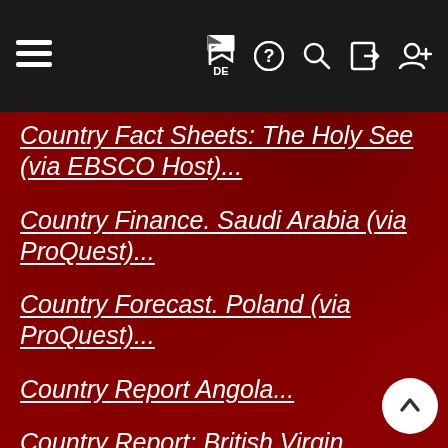≡  DE  ?  🔍  →  👤+
Country Fact Sheets: The Holy See (via EBSCO Host)...
Country Finance. Saudi Arabia (via ProQuest)...
Country Forecast. Poland (via ProQuest)...
Country Report Angola...
Country Report: British Virgin Islands (via Academic OneFile)...